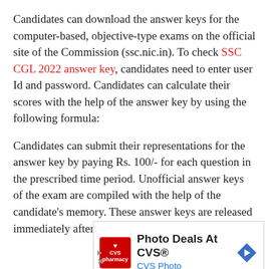Candidates can download the answer keys for the computer-based, objective-type exams on the official site of the Commission (ssc.nic.in). To check SSC CGL 2022 answer key, candidates need to enter user Id and password. Candidates can calculate their scores with the help of the answer key by using the following formula:
Candidates can submit their representations for the answer key by paying Rs. 100/- for each question in the prescribed time period. Unofficial answer keys of the exam are compiled with the help of the candidate's memory. These answer keys are released immediately after the examination.
[Figure (other): CVS Pharmacy advertisement banner: Photo Deals At CVS® with CVS Photo subtitle and CVS logo on the left and a blue navigation arrow icon on the right.]